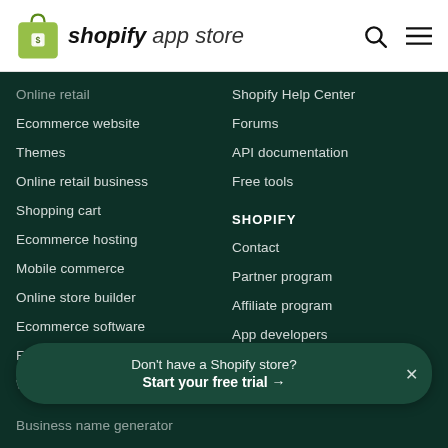[Figure (logo): Shopify App Store logo with green shopping bag icon and the text 'shopify app store']
Online retail (partial, cut off at top)
Ecommerce website
Themes
Online retail business
Shopping cart
Ecommerce hosting
Mobile commerce
Online store builder
Ecommerce software
Free stock photos
Websites for sale (partial)
Business name generator (partial)
Shopify Help Center
Forums
API documentation
Free tools
SHOPIFY
Contact
Partner program
Affiliate program
App developers
Don't have a Shopify store? Start your free trial →